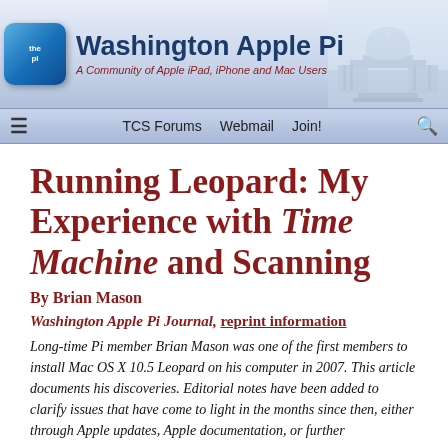Washington Apple Pi — A Community of Apple iPad, iPhone and Mac Users
TCS Forums   Webmail   Join!
Running Leopard: My Experience with Time Machine and Scanning
By Brian Mason
Washington Apple Pi Journal, reprint information
Long-time Pi member Brian Mason was one of the first members to install Mac OS X 10.5 Leopard on his computer in 2007. This article documents his discoveries. Editorial notes have been added to clarify issues that have come to light in the months since then, either through Apple updates, Apple documentation, or further